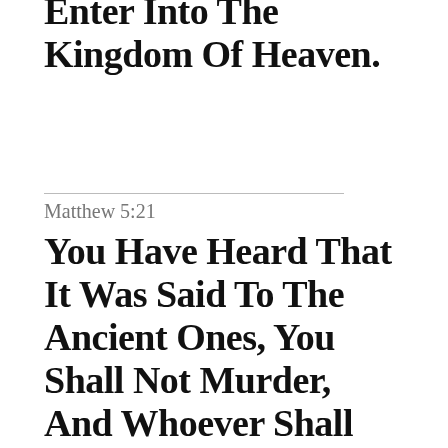Enter Into The Kingdom Of Heaven.
Matthew 5:21
You Have Heard That It Was Said To The Ancient Ones, You Shall Not Murder, And Whoever Shall Murder Shall Be In Danger Of The Judgment.